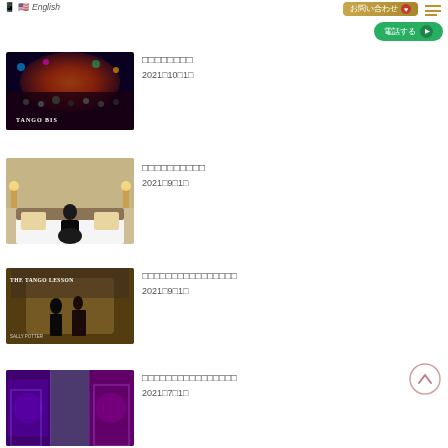日本語 🇺🇸 English
[Figure (other): お問い合わせ contact button with heart icon, gold gradient]
[Figure (other): Hamburger menu icon with gold lines]
[Figure (other): 電話する phone call button, green with play icon]
[Figure (photo): Tango party crowd photo with colorful lights, TANGO BIS text]
□□□□□□□□
2021□10□1□
[Figure (photo): Hotel room photo with person sitting on bed]
□□□□□□□□□□
2021□9□1□
[Figure (photo): THE TANGO LESSON movie poster with couple dancing]
□□□□□□□□□□□□□□□□
2021□9□1□
[Figure (other): Back to top arrow button, circular outline]
[Figure (photo): City nightlife photo with purple lights]
□□□□□□□□□□□□□□□□
2021□7□1□